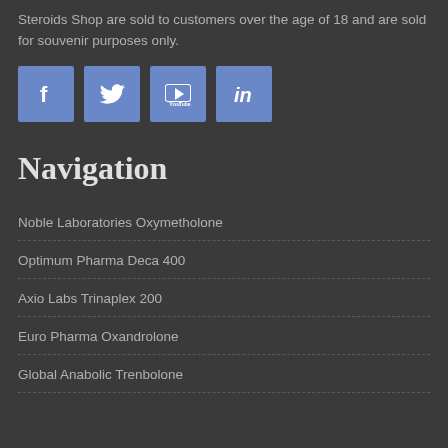Steroids Shop are sold to customers over the age of 18 and are sold for souvenir purposes only.
[Figure (illustration): Four social media icons: Facebook, Twitter, YouTube, LinkedIn — blue square buttons with white logos]
Navigation
Noble Laboratories Oxymetholone
Optimum Pharma Deca 400
Axio Labs Trinaplex 200
Euro Pharma Oxandrolone
Global Anabolic Trenbolone